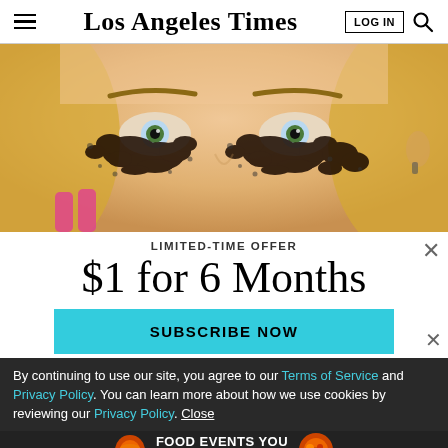Los Angeles Times  LOG IN
[Figure (photo): Close-up photo of a blonde woman's eyes with dramatic dark sparkly/glitter makeup applied under and around her eyes, held by pink-nailed fingers]
LIMITED-TIME OFFER
$1 for 6 Months
SUBSCRIBE NOW
By continuing to use our site, you agree to our Terms of Service and Privacy Policy. You can learn more about how we use cookies by reviewing our Privacy Policy. Close
FOOD EVENTS YOU WANT TO MISS